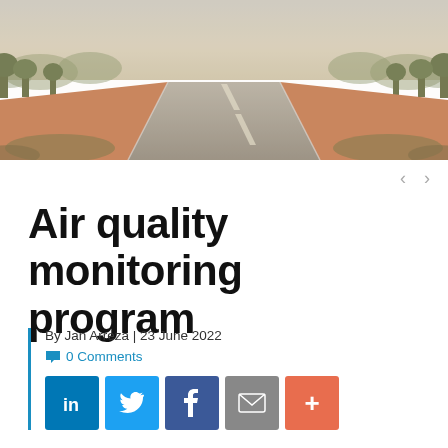[Figure (photo): A straight outback road stretching to the horizon, flanked by red dirt shoulders and dry bush vegetation under a hazy sky.]
Air quality monitoring program
By Jan Arreza | 23 June 2022
0 Comments
[Figure (infographic): Social share buttons: LinkedIn, Twitter, Facebook, Email, More (+)]